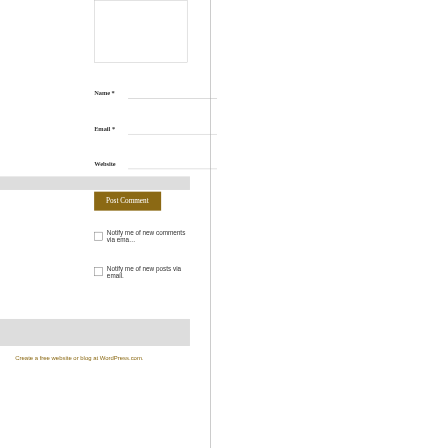[Figure (screenshot): Partial view of a WordPress comment form showing a textarea (cut off at top), Name, Email, Website input fields, a Post Comment button, two notification checkboxes, a gray band, a footer link, and a bottom gray bar.]
Name *
Email *
Website
Post Comment
Notify me of new comments via ema...
Notify me of new posts via email.
Create a free website or blog at WordPress.com.